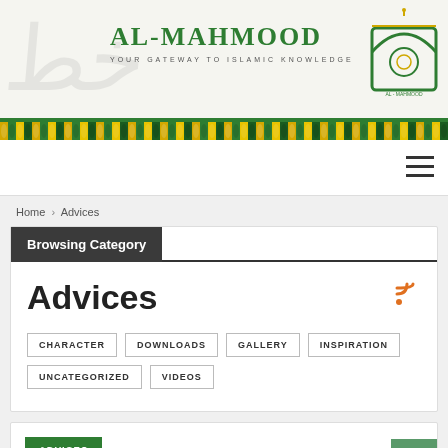[Figure (logo): Al-Mahmood website header with site name, tagline 'YOUR GATEWAY TO ISLAMIC KNOWLEDGE', decorative calligraphy background, and a green mosque logo on the right]
AL-MAHMOOD
YOUR GATEWAY TO ISLAMIC KNOWLEDGE
Home > Advices
Browsing Category
Advices
CHARACTER
DOWNLOADS
GALLERY
INSPIRATION
UNCATEGORIZED
VIDEOS
ADVICES